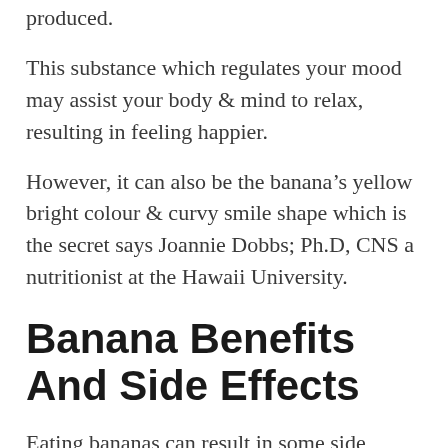produced.
This substance which regulates your mood may assist your body & mind to relax, resulting in feeling happier.
However, it can also be the banana's yellow bright colour & curvy smile shape which is the secret says Joannie Dobbs; Ph.D, CNS a nutritionist at the Hawaii University.
Banana Benefits And Side Effects
Eating bananas can result in some side effects, such as: Below are short discussions about a few